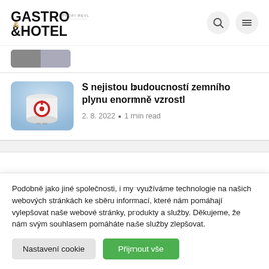[Figure (logo): Gastro & Hotel Profi Revue logo]
[Figure (photo): Partial article thumbnail cut off at top]
[Figure (photo): Gas tank with red circular logo on white cylindrical surface]
S nejistou budoucností zemního plynu enormně vzrostl
2. 8. 2022 • 1 min read
Podobně jako jiné společnosti, i my využíváme technologie na našich webových stránkách ke sběru informací, které nám pomáhají vylepšovat naše webové stránky, produkty a služby. Děkujeme, že nám svým souhlasem pomáháte naše služby zlepšovat.
Nastavení cookie
Přijmout vše